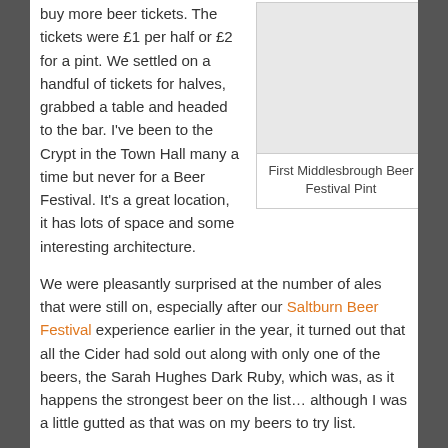buy more beer tickets. The tickets were £1 per half or £2 for a pint. We settled on a handful of tickets for halves, grabbed a table and headed to the bar. I've been to the Crypt in the Town Hall many a time but never for a Beer Festival. It's a great location, it has lots of space and some interesting architecture.
[Figure (photo): Placeholder image box for First Middlesbrough Beer Festival Pint]
First Middlesbrough Beer Festival Pint
We were pleasantly surprised at the number of ales that were still on, especially after our Saltburn Beer Festival experience earlier in the year, it turned out that all the Cider had sold out along with only one of the beers, the Sarah Hughes Dark Ruby, which was, as it happens the strongest beer on the list… although I was a little gutted as that was on my beers to try list.
[Figure (photo): Placeholder image box for a beer photo]
I ended up plumping for (a rather large) half a Roosters Yankee, one of my favourite local brews, pale, hoppy, slightly bitter with bags of